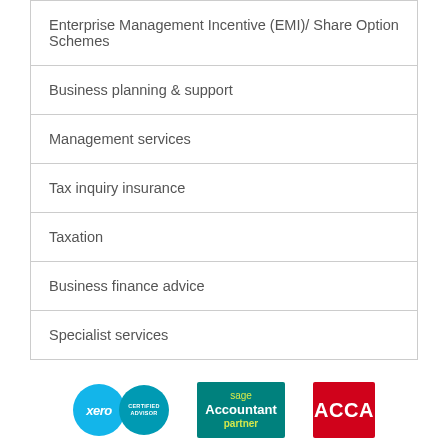Enterprise Management Incentive (EMI)/ Share Option Schemes
Business planning & support
Management services
Tax inquiry insurance
Taxation
Business finance advice
Specialist services
[Figure (logo): Xero certified advisor logo, Sage Accountant Partner logo, ACCA logo]